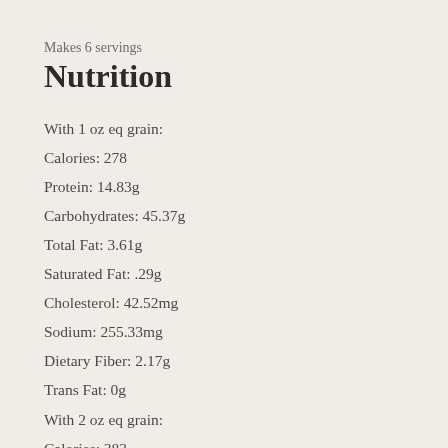Makes 6 servings
Nutrition
With 1 oz eq grain:
Calories: 278
Protein: 14.83g
Carbohydrates: 45.37g
Total Fat: 3.61g
Saturated Fat: .29g
Cholesterol: 42.52mg
Sodium: 255.33mg
Dietary Fiber: 2.17g
Trans Fat: 0g
With 2 oz eq grain:
Calories: 383
Protein: 17.09g
Carbohydrates: 67.38g